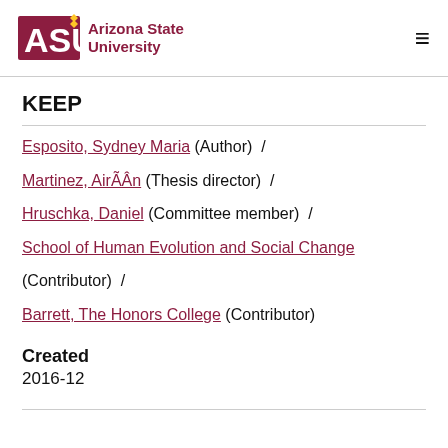Arizona State University
KEEP
Esposito, Sydney Maria (Author) / Martinez, AirÃÂn (Thesis director) / Hruschka, Daniel (Committee member) / School of Human Evolution and Social Change (Contributor) / Barrett, The Honors College (Contributor)
Created
2016-12